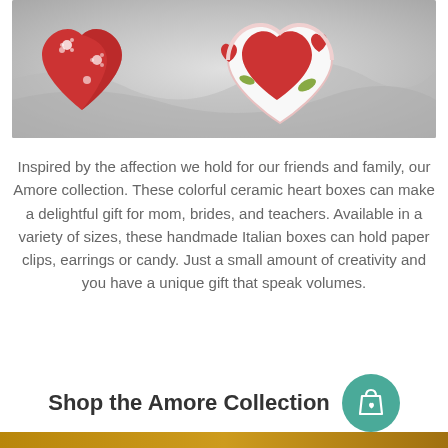[Figure (photo): Photo of colorful ceramic heart-shaped boxes with floral and decorative patterns in red and white, arranged on a light gray fabric background.]
Inspired by the affection we hold for our friends and family, our Amore collection. These colorful ceramic heart boxes can make a delightful gift for mom, brides, and teachers. Available in a variety of sizes, these handmade Italian boxes can hold paper clips, earrings or candy. Just a small amount of creativity and you have a unique gift that speak volumes.
Shop the Amore Collection